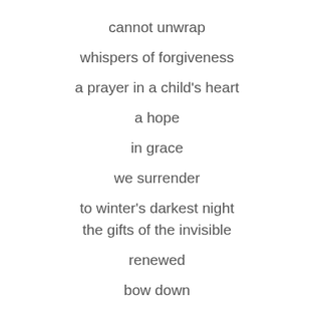cannot unwrap
whispers of forgiveness
a prayer in a child's heart
a hope
in grace
we surrender
to winter's darkest night
the gifts of the invisible
renewed
bow down